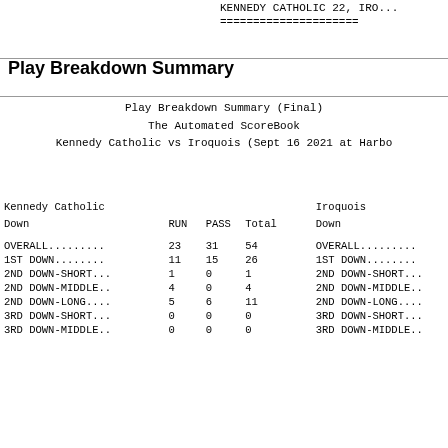KENNEDY CATHOLIC 22, IRO...
=====================
Play Breakdown Summary
Play Breakdown Summary (Final)
The Automated ScoreBook
Kennedy Catholic vs Iroquois (Sept 16 2021 at Harbo...
| Down | RUN | PASS | Total | Down |
| --- | --- | --- | --- | --- |
| OVERALL......... | 23 | 31 | 54 | OVERALL......... |
| 1ST DOWN........ | 11 | 15 | 26 | 1ST DOWN........ |
| 2ND DOWN-SHORT... | 1 | 0 | 1 | 2ND DOWN-SHORT... |
| 2ND DOWN-MIDDLE.. | 4 | 0 | 4 | 2ND DOWN-MIDDLE.. |
| 2ND DOWN-LONG.... | 5 | 6 | 11 | 2ND DOWN-LONG.... |
| 3RD DOWN-SHORT... | 0 | 0 | 0 | 3RD DOWN-SHORT... |
| 3RD DOWN-MIDDLE.. | 0 | 0 | 0 | 3RD DOWN-MIDDLE.. |